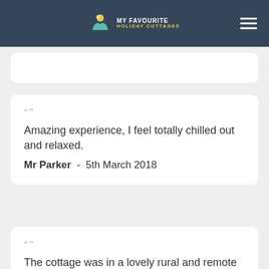MY FAVOURITE HOLIDAY COTTAGES
""  Amazing experience, I feel totally chilled out and relaxed.  Mr Parker - 5th March 2018
""  The cottage was in a lovely rural and remote setting, just what we wanted. When we arrived, we were greeted by the cleaner, she was very welcoming and friendly. It was very homely...